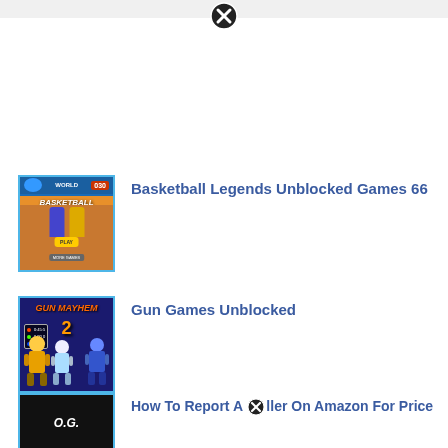[Figure (screenshot): Top bar with close/dismiss button (X icon)]
[Figure (screenshot): Basketball game thumbnail for Basketball Legends Unblocked Games 66]
Basketball Legends Unblocked Games 66
[Figure (screenshot): Gun Mayhem 2 game thumbnail for Gun Games Unblocked]
Gun Games Unblocked
[Figure (screenshot): Third game thumbnail (OG style dark background)]
How To Report A Seller On Amazon For Price